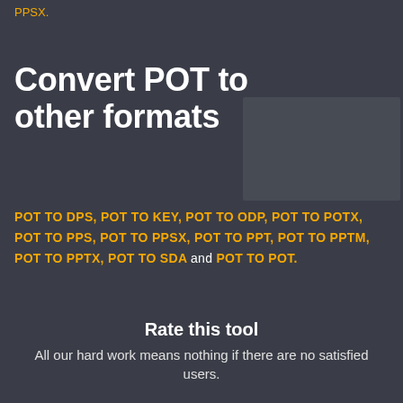PPSX.
Convert POT to other formats
POT TO DPS, POT TO KEY, POT TO ODP, POT TO POTX, POT TO PPS, POT TO PPSX, POT TO PPT, POT TO PPTM, POT TO PPTX, POT TO SDA and POT TO POT.
Rate this tool
All our hard work means nothing if there are no satisfied users.